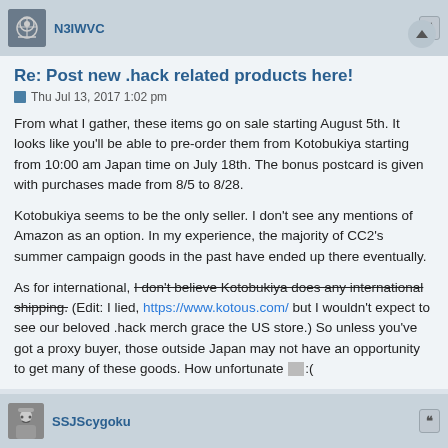N3IWVC
Re: Post new .hack related products here!
Thu Jul 13, 2017 1:02 pm
From what I gather, these items go on sale starting August 5th. It looks like you'll be able to pre-order them from Kotobukiya starting from 10:00 am Japan time on July 18th. The bonus postcard is given with purchases made from 8/5 to 8/28.
Kotobukiya seems to be the only seller. I don't see any mentions of Amazon as an option. In my experience, the majority of CC2's summer campaign goods in the past have ended up there eventually.
As for international, I don't believe Kotobukiya does any international shipping. (Edit: I lied, https://www.kotous.com/ but I wouldn't expect to see our beloved .hack merch grace the US store.) So unless you've got a proxy buyer, those outside Japan may not have an opportunity to get many of these goods. How unfortunate :(
SSJScygoku